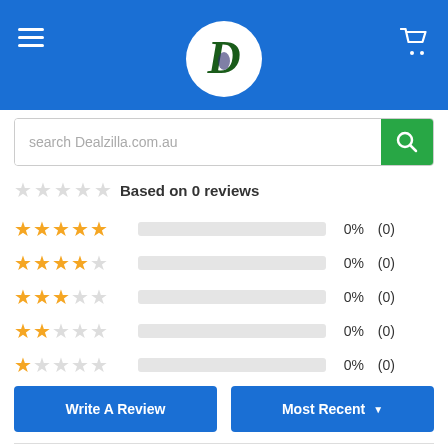[Figure (logo): Dealzilla website header with blue background, hamburger menu icon on left, circular logo with letter D in center, shopping cart icon on right]
search Dealzilla.com.au
Based on 0 reviews
[Figure (infographic): Star rating breakdown: 5 stars 0% (0), 4 stars 0% (0), 3 stars 0% (0), 2 stars 0% (0), 1 star 0% (0)]
Write A Review
Most Recent
Reviews (0)